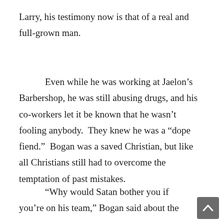Larry, his testimony now is that of a real and full-grown man.
Even while he was working at Jaelon’s Barbershop, he was still abusing drugs, and his co-workers let it be known that he wasn’t fooling anybody. They knew he was a “dope fiend.” Bogan was a saved Christian, but like all Christians still had to overcome the temptation of past mistakes.
“Why would Satan bother you if you’re on his team,” Bogan said about the